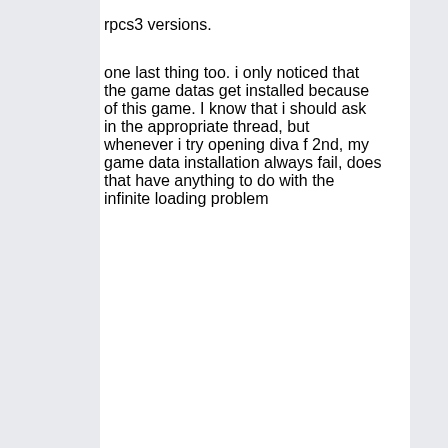rpcs3 versions.

one last thing too. i only noticed that the game datas get installed because of this game. I know that i should ask in the appropriate thread, but whenever i try opening diva f 2nd, my game data installation always fail, does that have anything to do with the infinite loading problem